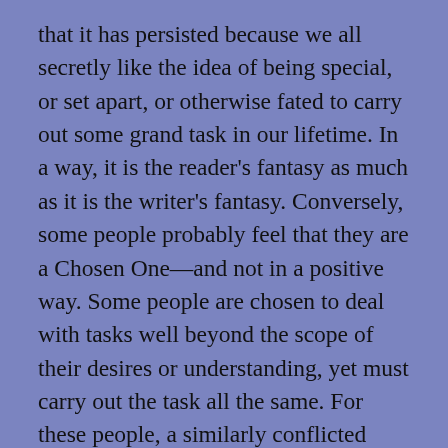that it has persisted because we all secretly like the idea of being special, or set apart, or otherwise fated to carry out some grand task in our lifetime. In a way, it is the reader's fantasy as much as it is the writer's fantasy. Conversely, some people probably feel that they are a Chosen One—and not in a positive way. Some people are chosen to deal with tasks well beyond the scope of their desires or understanding, yet must carry out the task all the same. For these people, a similarly conflicted Chosen One character is something to which they can relate. For example, I have recently become Personal Representative of my parents' estate, both of whom died in a tragic house fire. I have, by the courts, been chosen to